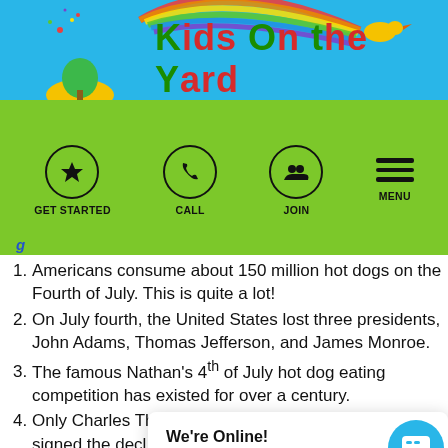[Figure (illustration): Kids on the Yard website header banner with rainbow, cartoon tree, sun, bird, and site logo text]
Kids on the Yard
[Figure (infographic): Navigation bar with GET STARTED (star icon), CALL (phone icon), JOIN (group icon), and MENU (hamburger icon) on green background]
Americans consume about 150 million hot dogs on the Fourth of July. This is quite a lot!
On July fourth, the United States lost three presidents, John Adams, Thomas Jefferson, and James Monroe.
The famous Nathan's 4th of July hot dog eating competition has existed for over a century.
Only Charles Th... [obscured] ock... signed the decl... o... 4th of July, 1776. The other delegates signed it
We're Online! How may I help you toda...